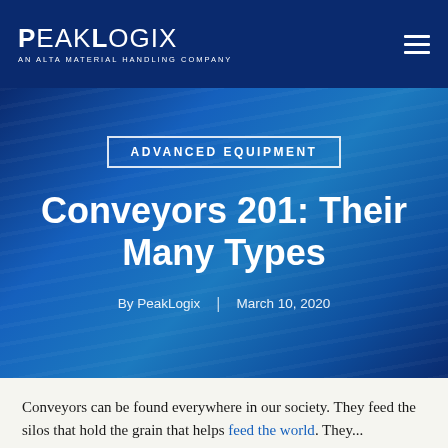PeakLogix — An Alta Material Handling Company
ADVANCED EQUIPMENT
Conveyors 201: Their Many Types
By PeakLogix | March 10, 2020
Conveyors can be found everywhere in our society. They feed the silos that hold the grain that helps feed the world. They...